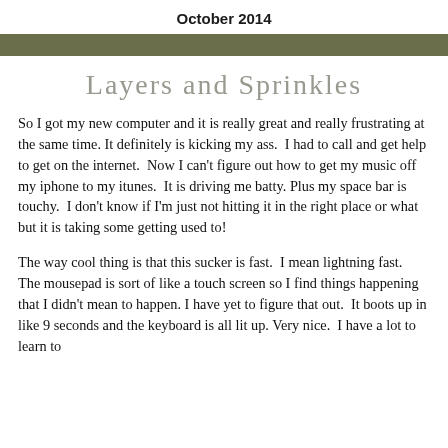October 2014
Layers and Sprinkles
So I got my new computer and it is really great and really frustrating at the same time. It definitely is kicking my ass.  I had to call and get help to get on the internet.  Now I can't figure out how to get my music off my iphone to my itunes.  It is driving me batty. Plus my space bar is touchy.  I don't know if I'm just not hitting it in the right place or what but it is taking some getting used to!
The way cool thing is that this sucker is fast.  I mean lightning fast.  The mousepad is sort of like a touch screen so I find things happening that I didn't mean to happen. I have yet to figure that out.  It boots up in like 9 seconds and the keyboard is all lit up. Very nice.  I have a lot to learn to